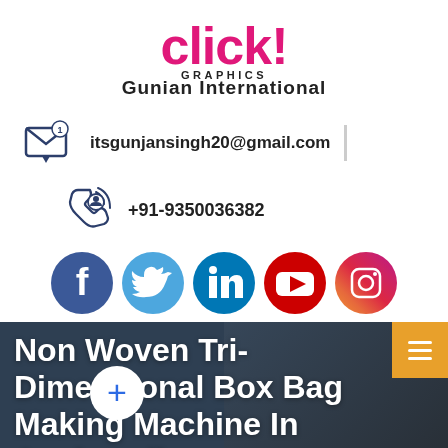[Figure (logo): Click! Graphics Gunjan International logo with pink 'click!' text and black 'GRAPHICS' and 'Gunjan International' text below]
itsgunjansingh20@gmail.com
+91-9350036382
[Figure (infographic): Social media icons row: Facebook, Twitter, LinkedIn, YouTube, Instagram]
Non Woven Tri-Dimensional Box Bag Making Machine In Anakapalle
Home | Anakapalle |
Non Woven Bag Making Machine In Anakapalle |